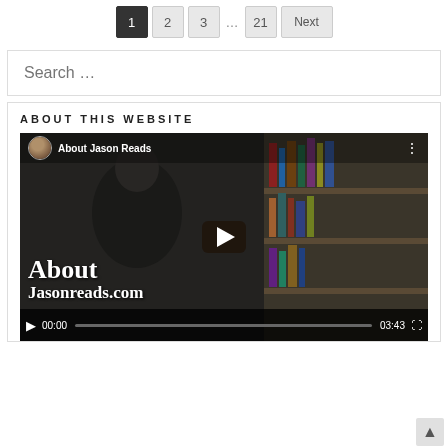Pagination: 1, 2, 3, ..., 21, Next
Search ...
ABOUT THIS WEBSITE
[Figure (screenshot): YouTube-style video player showing 'About Jason Reads' with a man in front of a bookshelf. Video duration 03:43, at 00:00. Play button visible. Text overlay reads 'About Jasonreads.com'.]